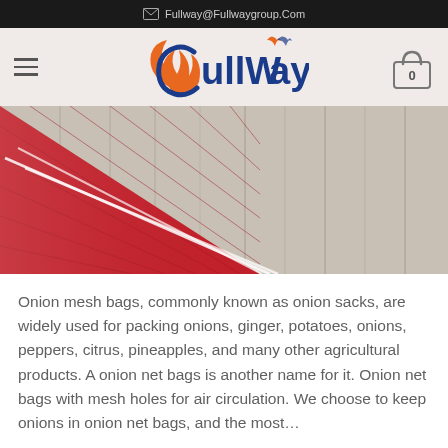Fullway@Fullwaygroup.Com
[Figure (logo): FullWay company logo with orange flame and blue text]
[Figure (photo): Close-up photo of red mesh/net bag material on a light wood surface with white stitching]
Onion mesh bags, commonly known as onion sacks, are widely used for packing onions, ginger, potatoes, onions, peppers, citrus, pineapples, and many other agricultural products. A onion net bags is another name for it. Onion net bags with mesh holes for air circulation. We choose to keep onions in onion net bags, and the most...